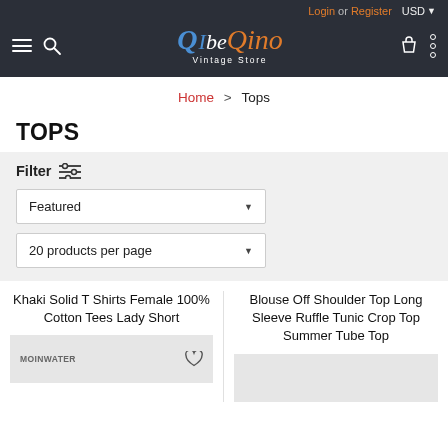Login or Register USD | beQino Vintage Store navigation header
Home > Tops
TOPS
Filter Featured 20 products per page
Khaki Solid T Shirts Female 100% Cotton Tees Lady Short
Blouse Off Shoulder Top Long Sleeve Ruffle Tunic Crop Top Summer Tube Top